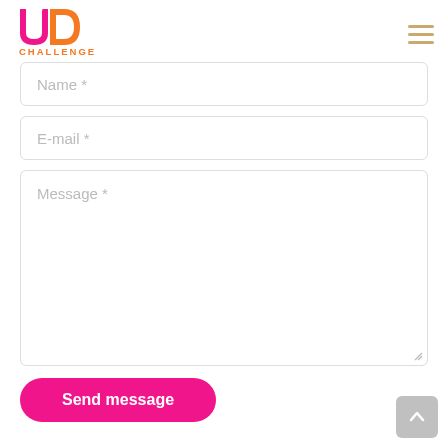[Figure (logo): UD Challenge logo with pink/magenta U and D letters and orange accent, with 'CHALLENGE' text below in orange]
[Figure (other): Hamburger menu icon with three horizontal lines in golden/tan color]
Name *
E-mail *
Message *
Send message
[Figure (other): Back to top button - grey rounded square with white upward arrow]